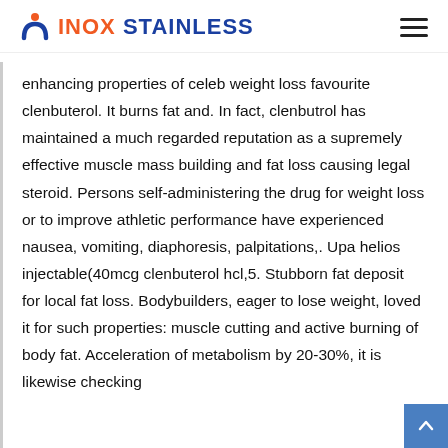INOX STAINLESS
enhancing properties of celeb weight loss favourite clenbuterol. It burns fat and. In fact, clenbutrol has maintained a much regarded reputation as a supremely effective muscle mass building and fat loss causing legal steroid. Persons self-administering the drug for weight loss or to improve athletic performance have experienced nausea, vomiting, diaphoresis, palpitations,. Upa helios injectable(40mcg clenbuterol hcl,5. Stubborn fat deposit for local fat loss. Bodybuilders, eager to lose weight, loved it for such properties: muscle cutting and active burning of body fat. Acceleration of metabolism by 20-30%, it is likewise checking...